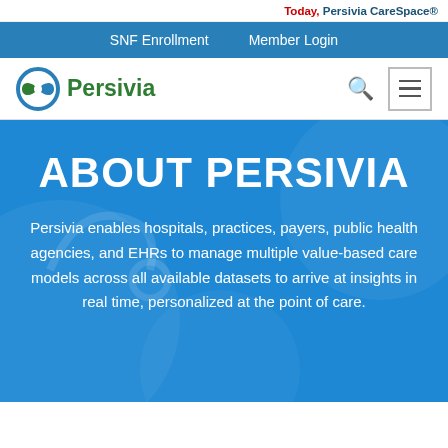Today, Persivia CareSpace®
SNF Enrollment  Member Login
[Figure (logo): Persivia logo with circular arrow icon and green text 'Persivia']
ABOUT PERSIVIA
Persivia enables hospitals, practices, payers, public health agencies, and EHRs to manage multiple value-based care models across all available datasets to arrive at insights in real time, personalized at the point of care.